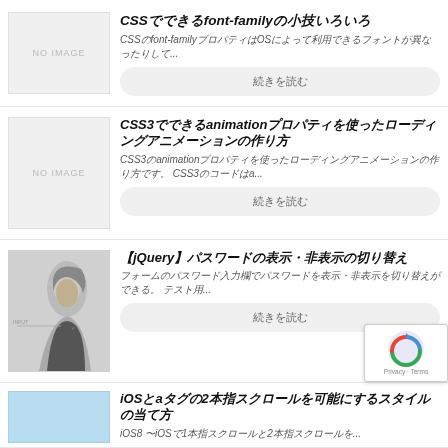[Figure (screenshot): No image placeholder thumbnail for first card]
CSSでできるfont-familyの小技いろいろ
CSSのfont-familyプロパティはOSによって利用できるフォントが異なったりして...
続きを読む
[Figure (screenshot): No image placeholder thumbnail for second card]
CSS3のanimationプロパティを使ったローディングアニメーションの作り方
CSS3のanimationプロパティを使ったローディングアニメーションの作り方です。CSS3のコードはa...
続きを読む
[Figure (photo): Photo of a person with long dark hair, black and white]
【jQuery】パスワードの表示・非表示の切り替え
フォームのパスワード入力欄でパスワードを表示・非表示を切り替えができる。テスト用...
続きを読む
[Figure (screenshot): Light blue thumbnail for iOS article]
iOSとaタグの2本指スクロールを可能にするスタイルの当て方
iOS8 〜iOSで1本指スクロールと2本指スクロールを...